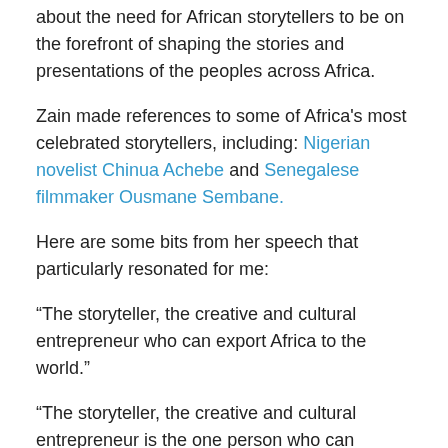about the need for African storytellers to be on the forefront of shaping the stories and presentations of the peoples across Africa.
Zain made references to some of Africa's most celebrated storytellers, including: Nigerian novelist Chinua Achebe and Senegalese filmmaker Ousmane Sembane.
Here are some bits from her speech that particularly resonated for me:
“The storyteller, the creative and cultural entrepreneur who can export Africa to the world.”
“The storyteller, the creative and cultural entrepreneur is the one person who can project and protect Africa’s soft power on the global stage.”